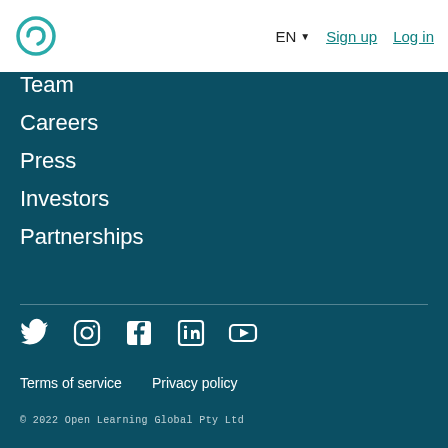EN ▼  Sign up  Log in
Team
Careers
Press
Investors
Partnerships
[Figure (illustration): Social media icons: Twitter, Instagram, Facebook, LinkedIn, YouTube]
Terms of service   Privacy policy
© 2022 Open Learning Global Pty Ltd